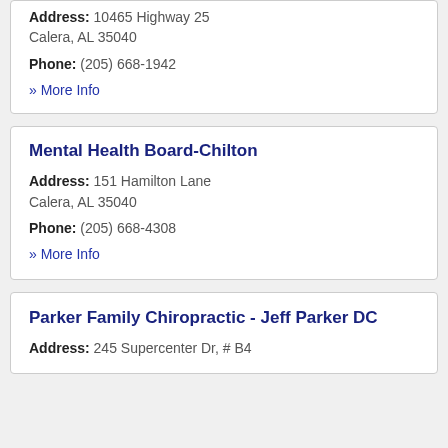Address: 10465 Highway 25
Calera, AL 35040
Phone: (205) 668-1942
» More Info
Mental Health Board-Chilton
Address: 151 Hamilton Lane
Calera, AL 35040
Phone: (205) 668-4308
» More Info
Parker Family Chiropractic - Jeff Parker DC
Address: 245 Supercenter Dr, # B4